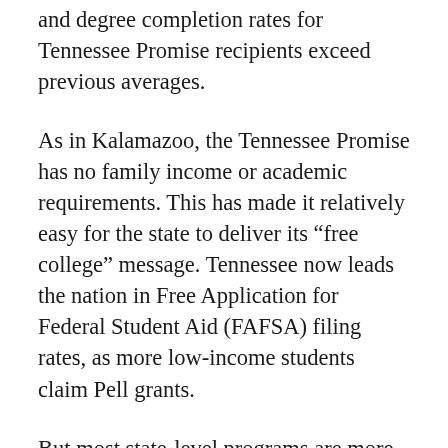and degree completion rates for Tennessee Promise recipients exceed previous averages.
As in Kalamazoo, the Tennessee Promise has no family income or academic requirements. This has made it relatively easy for the state to deliver its “free college” message. Tennessee now leads the nation in Free Application for Federal Student Aid (FAFSA) filing rates, as more low-income students claim Pell grants.
But most state-level programs are more complex, incorporating requirements that disadvantage lower-income students. In New York, for example, the statewide Excelsior Scholarship is available only to students who